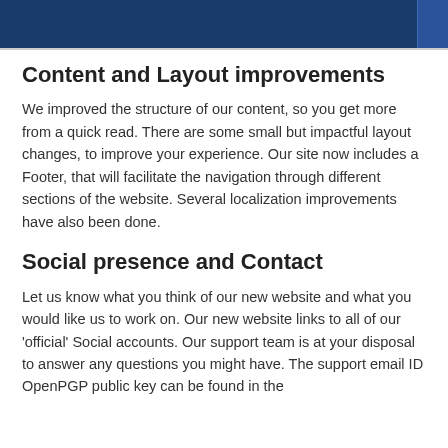Content and Layout improvements
We improved the structure of our content, so you get more from a quick read. There are some small but impactful layout changes, to improve your experience. Our site now includes a Footer, that will facilitate the navigation through different sections of the website. Several localization improvements have also been done.
Social presence and Contact
Let us know what you think of our new website and what you would like us to work on. Our new website links to all of our 'official' Social accounts. Our support team is at your disposal to answer any questions you might have. The support email ID OpenPGP public key can be found in the